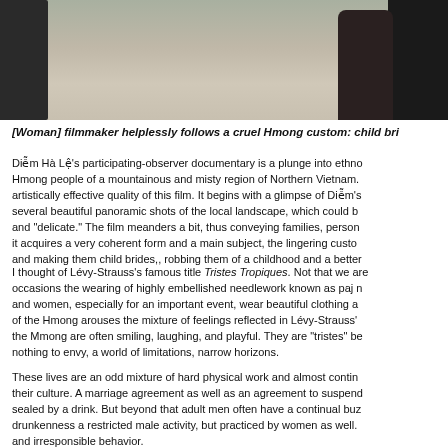[Figure (photo): Outdoor scene with people in a mountainous or rural setting; partial view of dark figures/clothing on left and right edges against a grassy/earthy background]
[Woman] filmmaker helplessly follows a cruel Hmong custom: child bri...
Diễm Hà Lệ's participating-observer documentary is a plunge into ethno... Hmong people of a mountainous and misty region of Northern Vietnam. artistically effective quality of this film. It begins with a glimpse of Diễm's several beautiful panoramic shots of the local landscape, which could b and "delicate." The film meanders a bit, thus conveying families, person it acquires a very coherent form and a main subject, the lingering custo and making them child brides,, robbing them of a childhood and a better
I thought of Lévy-Strauss's famous title Tristes Tropiques. Not that we are occasions the wearing of highly embellished needlework known as paj n and women, especially for an important event, wear beautiful clothing a of the Hmong arouses the mixture of feelings reflected in Lévy-Strauss' the Mmong are often smiling, laughing, and playful. They are "tristes" be nothing to envy, a world of limitations, narrow horizons.
These lives are an odd mixture of hard physical work and almost contin their culture. A marriage agreement as well as an agreement to suspend sealed by a drink. But beyond that adult men often have a continual buz drunkenness a restricted male activity, but practiced by women as well. and irresponsible behavior.